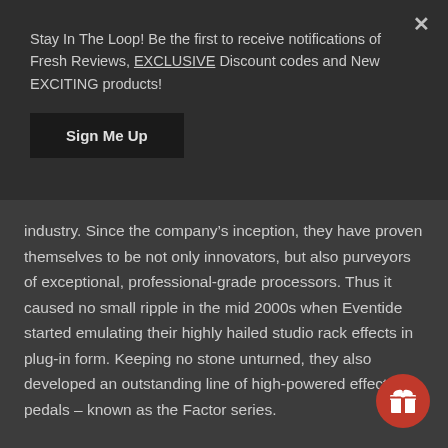Stay In The Loop! Be the first to receive notifications of Fresh Reviews, EXCLUSIVE Discount codes and New EXCITING products!
Sign Me Up
industry. Since the company's inception, they have proven themselves to be not only innovators, but also purveyors of exceptional, professional-grade processors. Thus it caused no small ripple in the mid 2000s when Eventide started emulating their highly hailed studio rack effects in plug-in form. Keeping no stone unturned, they also developed an outstanding line of high-powered effects pedals – known as the Factor series.
And . . . in 2009 Eventide gave many guitarists keyboardists cause for celebration when they unleashed